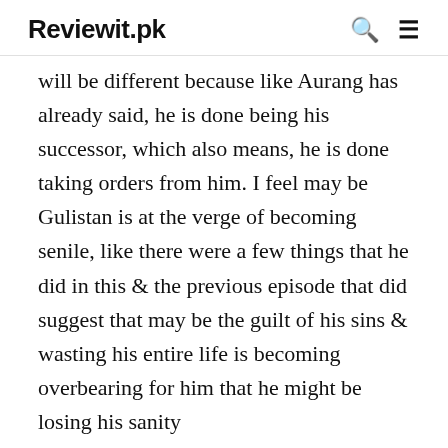Reviewit.pk
will be different because like Aurang has already said, he is done being his successor, which also means, he is done taking orders from him. I feel may be Gulistan is at the verge of becoming senile, like there were a few things that he did in this & the previous episode that did suggest that may be the guilt of his sins & wasting his entire life is becoming overbearing for him that he might be losing his sanity